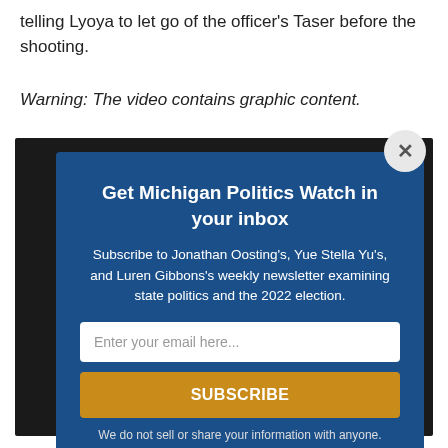telling Lyoya to let go of the officer's Taser before the shooting.
Warning: The video contains graphic content.
[Figure (screenshot): Dark video player background with a circular play icon visible on the left side, overlaid by a newsletter subscription modal dialog.]
Get Michigan Politics Watch in your inbox
Subscribe to Jonathan Oosting's, Yue Stella Yu's, and Luren Gibbons's weekly newsletter examining state politics and the 2022 election.
Enter your email here...
SUBSCRIBE
We do not sell or share your information with anyone.